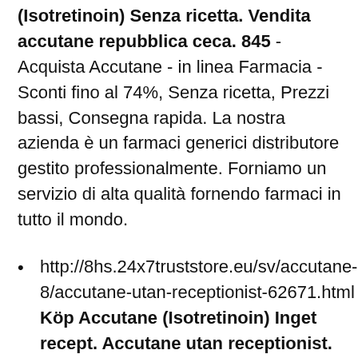(Isotretinoin) Senza ricetta. Vendita accutane repubblica ceca. 845 - Acquista Accutane - in linea Farmacia - Sconti fino al 74%, Senza ricetta, Prezzi bassi, Consegna rapida. La nostra azienda è un farmaci generici distributore gestito professionalmente. Forniamo un servizio di alta qualità fornendo farmaci in tutto il mondo.
http://8hs.24x7truststore.eu/sv/accutane-8/accutane-utan-receptionist-62671.html Köp Accutane (Isotretinoin) Inget recept. Accutane utan receptionist. 753 - Köpa